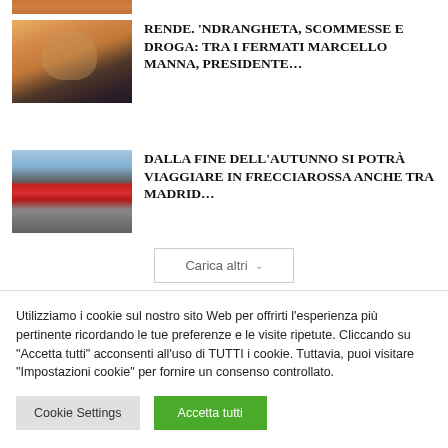[Figure (photo): Partial view of a cropped image at top (person or object, partially visible)]
[Figure (photo): Portrait of a smiling man with glasses wearing a dark suit]
RENDE. ‘NDRANGHETA, SCOMMESSE E DROGA: TRA I FERMATI MARCELLO MANNA, PRESIDENTE…
[Figure (photo): Red Frecciarossa high-speed train at a station]
DALLA FINE DELL’AUTUNNO SI POTRÀ VIAGGIARE IN FRECCIAROSSA ANCHE TRA MADRID…
Carica altri
Utilizziamo i cookie sul nostro sito Web per offrirti l’esperienza più pertinente ricordando le tue preferenze e le visite ripetute. Cliccando su "Accetta tutti" acconsenti all’uso di TUTTI i cookie. Tuttavia, puoi visitare "Impostazioni cookie" per fornire un consenso controllato.
Cookie Settings
Accetta tutti